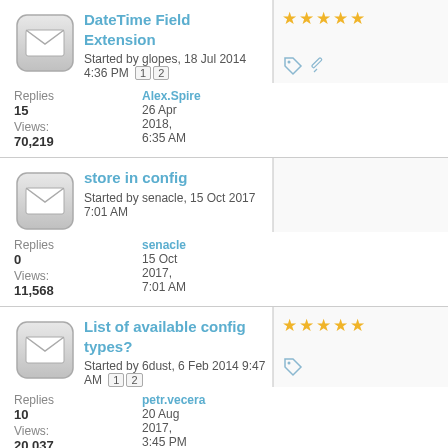DateTime Field Extension - Started by glopes, 18 Jul 2014 4:36 PM
Replies: 15  Views: 70,219  Alex.Spire  26 Apr 2018, 6:35 AM
store in config - Started by senacle, 15 Oct 2017 7:01 AM
Replies: 0  Views: 11,568  senacle  15 Oct 2017, 7:01 AM
List of available config types? - Started by 6dust, 6 Feb 2014 9:47 AM
Replies: 10  Views: 20,037  petr.vecera  20 Aug 2017, 3:45 PM